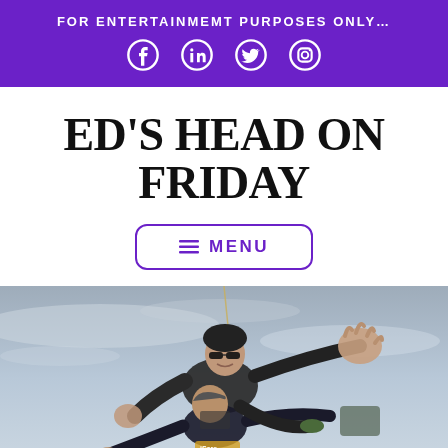FOR ENTERTAINMEMT PURPOSES ONLY…
ED'S HEAD ON FRIDAY
≡ MENU
[Figure (photo): Two people tandem skydiving in mid-air against a grey sky. The instructor wearing sunglasses is behind, and a second person is in front with arms outstretched. Both wearing dark clothing and gear.]